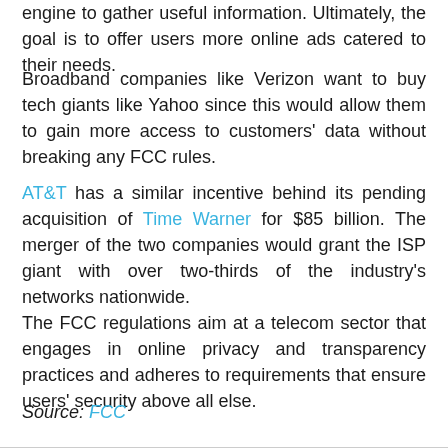engine to gather useful information. Ultimately, the goal is to offer users more online ads catered to their needs.
Broadband companies like Verizon want to buy tech giants like Yahoo since this would allow them to gain more access to customers' data without breaking any FCC rules.
AT&T has a similar incentive behind its pending acquisition of Time Warner for $85 billion. The merger of the two companies would grant the ISP giant with over two-thirds of the industry's networks nationwide.
The FCC regulations aim at a telecom sector that engages in online privacy and transparency practices and adheres to requirements that ensure users' security above all else.
Source: FCC